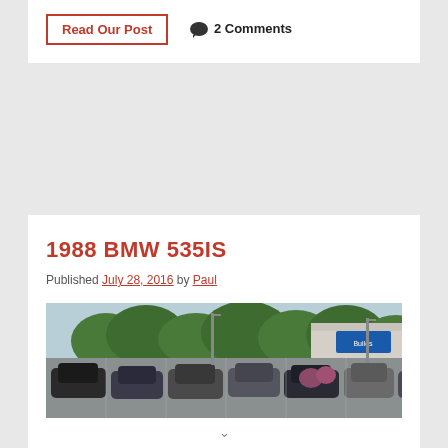Read Our Post | 2 Comments
1988 BMW 535IS
Published July 28, 2016 by Paul
[Figure (photo): A car dealership lot with multiple cars parked and a building with a blue sign in the background, surrounded by trees.]